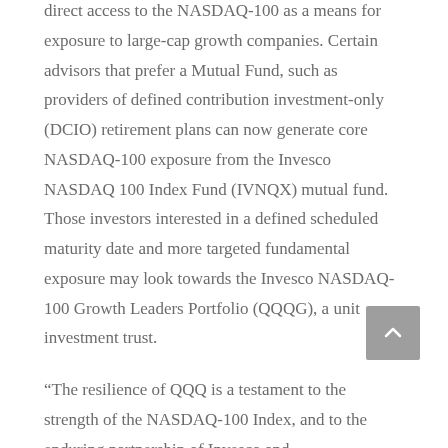direct access to the NASDAQ-100 as a means for exposure to large-cap growth companies. Certain advisors that prefer a Mutual Fund, such as providers of defined contribution investment-only (DCIO) retirement plans can now generate core NASDAQ-100 exposure from the Invesco NASDAQ 100 Index Fund (IVNQX) mutual fund. Those investors interested in a defined scheduled maturity date and more targeted fundamental exposure may look towards the Invesco NASDAQ-100 Growth Leaders Portfolio (QQQG), a unit investment trust.
“The resilience of QQQ is a testament to the strength of the NASDAQ-100 Index, and to the enduring partnership of Invesco and